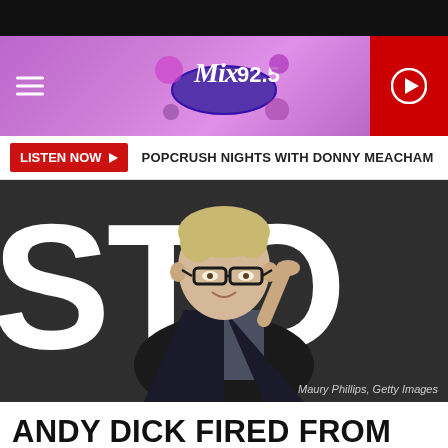[Figure (logo): Mix 92.5 radio station logo on purple/pink gradient banner with hamburger menu icon on left and red play button on right]
LISTEN NOW ▶  POPCRUSH NIGHTS WITH DONNY MEACHAM
[Figure (photo): Andy Dick wearing black-rimmed glasses, adjusting his glasses with his right hand, wearing a black blazer, standing in front of a dark backdrop with large white letters 'STO' visible. Photo credit: Maury Phillips, Getty Images]
ANDY DICK FIRED FROM FILM